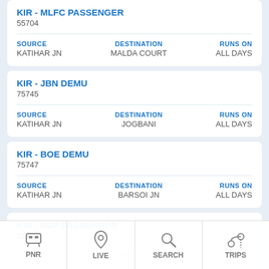KIR - MLFC PASSENGER
55704
| SOURCE | DESTINATION | RUNS ON |
| --- | --- | --- |
| KATIHAR JN | MALDA COURT | ALL DAYS |
KIR - JBN DEMU
75745
| SOURCE | DESTINATION | RUNS ON |
| --- | --- | --- |
| KATIHAR JN | JOGBANI | ALL DAYS |
KIR - BOE DEMU
75747
| SOURCE | DESTINATION | RUNS ON |
| --- | --- | --- |
| KATIHAR JN | BARSOI JN | ALL DAYS |
KIR - RDP PASSENGER
55729
| SOURCE | DESTINATION | RUNS ON |
| --- | --- | --- |
| KATIHAR JN | RADH KAPUR | ALL DAYS |
PNR  LIVE  SEARCH  TRIPS